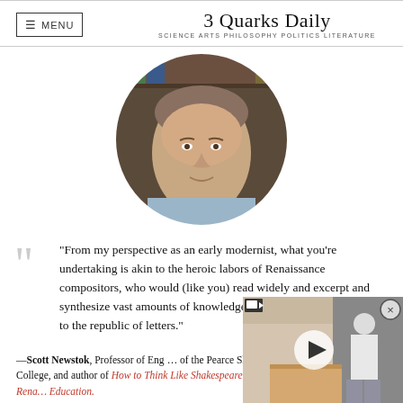MENU | 3 Quarks Daily — SCIENCE ARTS PHILOSOPHY POLITICS LITERATURE
[Figure (photo): Circular portrait photo of a man in a light blue shirt, smiling, with bookshelves in the background]
“From my perspective as an early modernist, what you’re undertaking is akin to the heroic labors of Renaissance compositors, who would (like you) read widely and excerpt and synthesize vast amounts of knowledge for others. A real service to the republic of letters.”
—Scott Newstok, Professor of Eng... of the Pearce Shakespeare Endow... College, and author of How to Think Like Shakespeare: Lessons from a Rena... Education.
[Figure (screenshot): Video overlay thumbnail showing a person working, with a play button and close button]